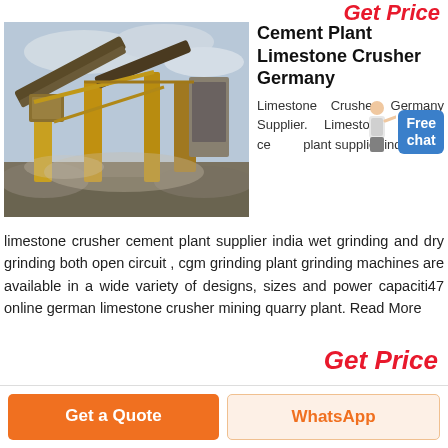Get Price
[Figure (photo): Industrial cement plant limestone crusher machinery with conveyor belts and gravel piles outdoors]
Cement Plant Limestone Crusher Germany
Limestone Crusher Germany Supplier. Limestone crusher cement plant supplier india
limestone crusher cement plant supplier india wet grinding and dry grinding both open circuit , cgm grinding plant grinding machines are available in a wide variety of designs, sizes and power capaciti47 online german limestone crusher mining quarry plant. Read More
Get Price
Get a Quote
WhatsApp